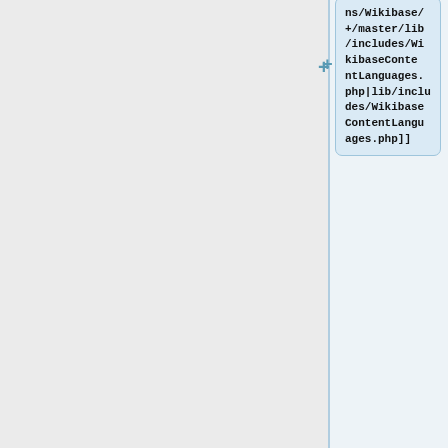ns/Wikibase/+/master/lib/includes/WikibaseContentLanguages.php|lib/includes/WikibaseContentLanguages.php]]
#*In the WikibaseLexeme repository:
#**[[git:mediawiki/extensions/WikibaseLexeme/+/master/WikibaseLexeme.mediawiki-